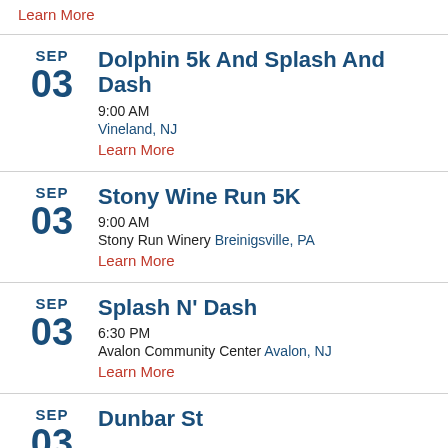Learn More
SEP 03 Dolphin 5k And Splash And Dash
9:00 AM
Vineland, NJ
Learn More
SEP 03 Stony Wine Run 5K
9:00 AM
Stony Run Winery Breinigsville, PA
Learn More
SEP 03 Splash N' Dash
6:30 PM
Avalon Community Center Avalon, NJ
Learn More
SEP (partial)